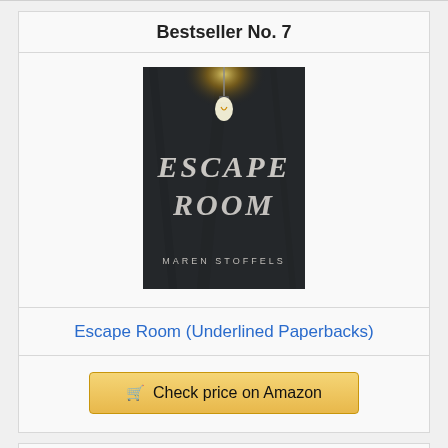Bestseller No. 7
[Figure (photo): Book cover of 'Escape Room' by Maren Stoffels. Dark background with a hanging light bulb illuminating scratched text reading ESCAPE ROOM, author name at the bottom.]
Escape Room (Underlined Paperbacks)
Check price on Amazon
Bestseller No. 8